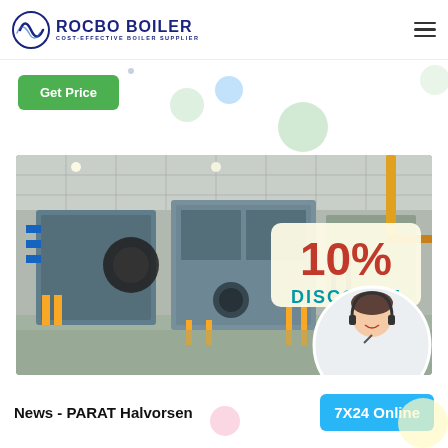[Figure (logo): Rocbo Boiler logo with circular wave icon and text 'ROCBO BOILER / COST-EFFECTIVE BOILER SUPPLIER' in dark blue]
Get Price
[Figure (photo): Industrial boiler room with large blue/grey boiler units, yellow piping, and equipment. Overlay shows '10% DISCOUNT' badge in red/teal and a customer service representative in a circular frame.]
News - PARAT Halvorsen
7X24 Online